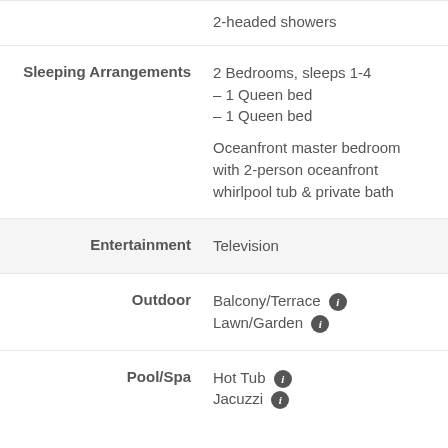2-headed showers
| Category | Details |
| --- | --- |
| Sleeping Arrangements | 2 Bedrooms, sleeps 1-4
– 1 Queen bed
– 1 Queen bed

Oceanfront master bedroom with 2-person oceanfront whirlpool tub & private bath |
| Entertainment | Television |
| Outdoor | Balcony/Terrace ℹ
Lawn/Garden ℹ |
| Pool/Spa | Hot Tub ℹ
Jacuzzi ℹ |